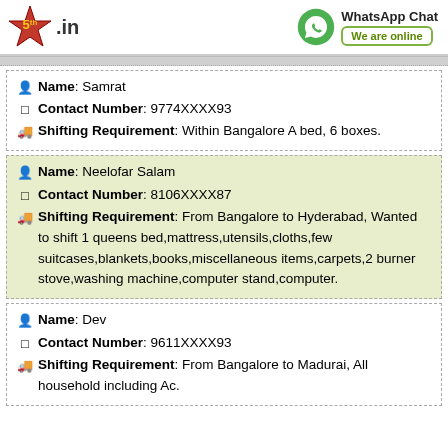5th.in | WhatsApp Chat - We are online
Name: Samrat | Contact Number: 9774XXXX93 | Shifting Requirement: Within Bangalore A bed, 6 boxes.
Name: Neelofar Salam | Contact Number: 8106XXXX87 | Shifting Requirement: From Bangalore to Hyderabad, Wanted to shift 1 queens bed,mattress,utensils,cloths,few suitcases,blankets,books,miscellaneous items,carpets,2 burner stove,washing machine,computer stand,computer.
Name: Dev | Contact Number: 9611XXXX93 | Shifting Requirement: From Bangalore to Madurai, All household including Ac.